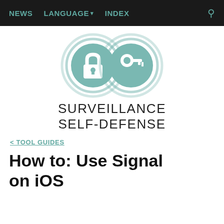NEWS   LANGUAGE▾   INDEX
[Figure (logo): Surveillance Self-Defense logo: two overlapping circular rings containing a padlock icon and a key icon, in teal/muted blue-green color scheme, with the text SURVEILLANCE SELF-DEFENSE below]
< TOOL GUIDES
How to: Use Signal on iOS